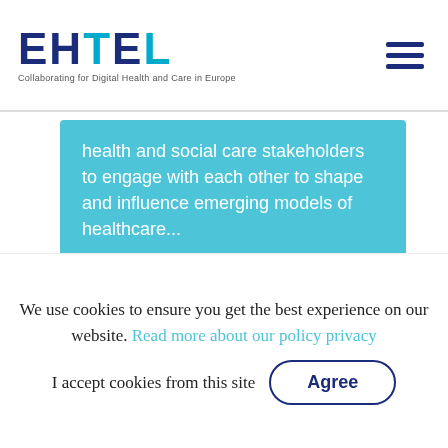[Figure (logo): EHTEL logo with text 'Collaborating for Digital Health and Care in Europe']
[Figure (illustration): Hamburger menu icon (three horizontal dark blue lines)]
health and social care stakeholders to engage with each other to shape and influence emerging models of healthcare...
READ MORE
[Figure (illustration): Decorative crossing diagonal lines in light blue on white background]
We use cookies to ensure you get the best experience on our website. Read more about our policy privacy
I accept cookies from this site
Agree